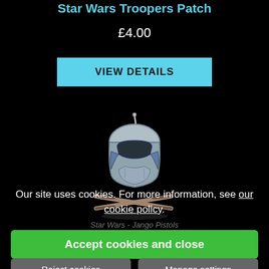Star Wars Troopers Patch
£4.00
VIEW DETAILS
[Figure (illustration): Illustration of a Star Wars Mandalorian/Jango Fett helmet with crossed pistols below, in embroidered patch style]
Star Wars - Jango Pistols
Our site uses cookies. For more information, see our cookie policy.
Accept cookies and close
Reject cookies
Manage settings